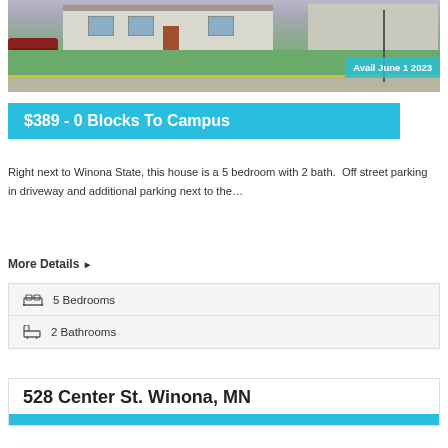[Figure (photo): Exterior photo of a house near Winona State with green lawn and parked car. Overlay badge reads 'Avail June 1 2023']
$389 - 0 Blocks To Campus
Right next to Winona State, this house is a 5 bedroom with 2 bath.  Off street parking in driveway and additional parking next to the…
More Details ▶
5 Bedrooms
2 Bathrooms
528 Center St. Winona, MN